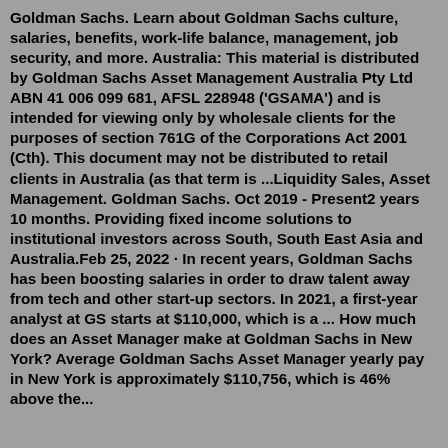Goldman Sachs. Learn about Goldman Sachs culture, salaries, benefits, work-life balance, management, job security, and more. Australia: This material is distributed by Goldman Sachs Asset Management Australia Pty Ltd ABN 41 006 099 681, AFSL 228948 ('GSAMA') and is intended for viewing only by wholesale clients for the purposes of section 761G of the Corporations Act 2001 (Cth). This document may not be distributed to retail clients in Australia (as that term is ...Liquidity Sales, Asset Management. Goldman Sachs. Oct 2019 - Present2 years 10 months. Providing fixed income solutions to institutional investors across South, South East Asia and Australia.Feb 25, 2022 · In recent years, Goldman Sachs has been boosting salaries in order to draw talent away from tech and other start-up sectors. In 2021, a first-year analyst at GS starts at $110,000, which is a ... How much does an Asset Manager make at Goldman Sachs in New York? Average Goldman Sachs Asset Manager yearly pay in New York is approximately $110,756, which is 46% above the...